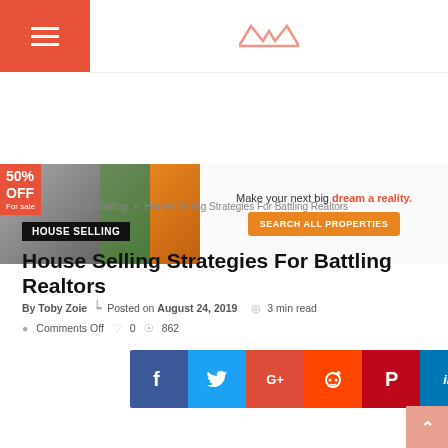Navigation header with hamburger menu and site logo
[Figure (infographic): Real estate ad banner: 50% OFF For Sale badge with property photos on left, 'Make your next big dream a reality. SEARCH ALL PROPERTIES' on right]
Home » House Selling » House Selling Strategies For Battling Realtors
HOUSE SELLING
House Selling Strategies For Battling Realtors
By Toby Zoie   Posted on August 24, 2019   3 min read   Comments Off   0   862
[Figure (infographic): Social media share buttons: Facebook, Twitter, Google+, Reddit, Pinterest, LinkedIn, Tumblr, WhatsApp, Telegram]